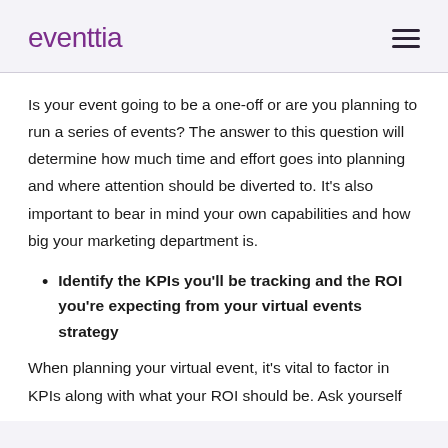eventtia
Is your event going to be a one-off or are you planning to run a series of events? The answer to this question will determine how much time and effort goes into planning and where attention should be diverted to. It's also important to bear in mind your own capabilities and how big your marketing department is.
Identify the KPIs you'll be tracking and the ROI you're expecting from your virtual events strategy
When planning your virtual event, it's vital to factor in KPIs along with what your ROI should be. Ask yourself